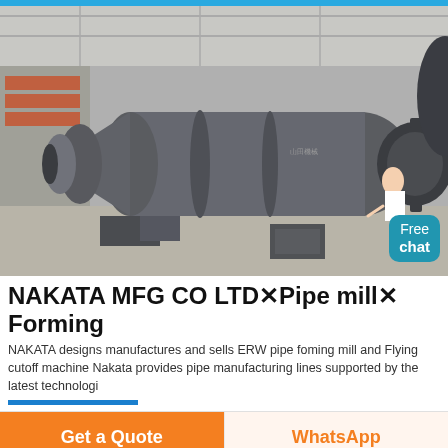[Figure (photo): Industrial ball mill / pipe mill forming machine in a factory setting, large grey cylindrical machine lying horizontally on the factory floor]
NAKATA MFG CO LTD×Pipe mill× Forming
NAKATA designs manufactures and sells ERW pipe foming mill and Flying cutoff machine Nakata provides pipe manufacturing lines supported by the latest technologi
[Figure (other): Get a Quote orange button and WhatsApp button row at bottom of page]